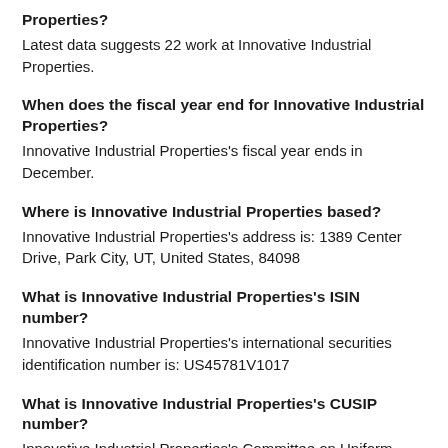Properties?
Latest data suggests 22 work at Innovative Industrial Properties.
When does the fiscal year end for Innovative Industrial Properties?
Innovative Industrial Properties's fiscal year ends in December.
Where is Innovative Industrial Properties based?
Innovative Industrial Properties's address is: 1389 Center Drive, Park City, UT, United States, 84098
What is Innovative Industrial Properties's ISIN number?
Innovative Industrial Properties's international securities identification number is: US45781V1017
What is Innovative Industrial Properties's CUSIP number?
Innovative Industrial Properties's Committee on Uniform Securities Identification Procedures number is: 45781V101